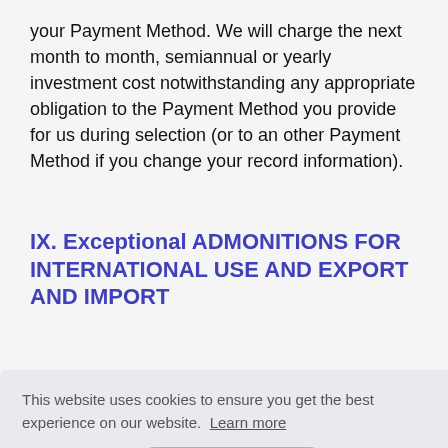your Payment Method. We will charge the next month to month, semiannual or yearly investment cost notwithstanding any appropriate obligation to the Payment Method you provide for us during selection (or to an other Payment Method if you change your record information).
IX. Exceptional ADMONITIONS FOR INTERNATIONAL USE AND EXPORT AND IMPORT
This website uses cookies to ensure you get the best experience on our website. Learn more
Got it!
net, for d
move, posting and moving of programming